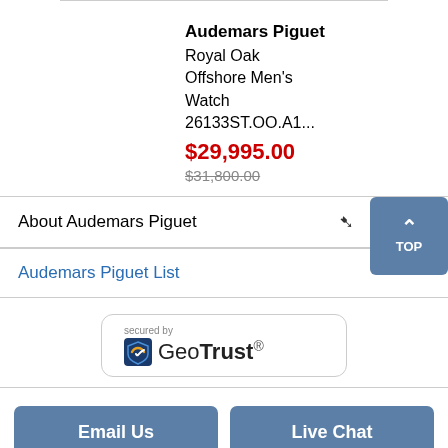Audemars Piguet Royal Oak Offshore Men's Watch 26133ST.OO.A1...
$29,995.00
$31,800.00
About Audemars Piguet
Audemars Piguet List
[Figure (logo): GeoTrust SSL security badge with shield icon and text 'secured by GeoTrust']
Email Us
Live Chat